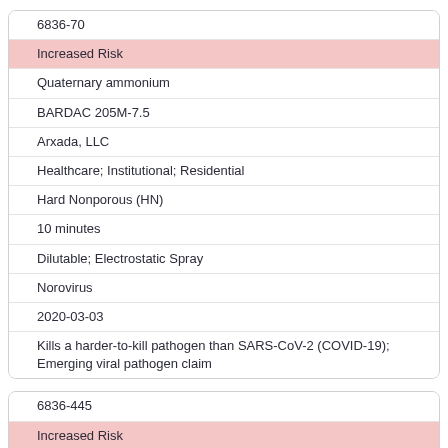| 6836-70 |
| Increased Risk |
| Quaternary ammonium |
| BARDAC 205M-7.5 |
| Arxada, LLC |
| Healthcare; Institutional; Residential |
| Hard Nonporous (HN) |
| 10 minutes |
| Dilutable; Electrostatic Spray |
| Norovirus |
| 2020-03-03 |
| Kills a harder-to-kill pathogen than SARS-CoV-2 (COVID-19); Emerging viral pathogen claim |
| 6836-445 |
| Increased Risk |
| PHMB; Quaternary ammonium |